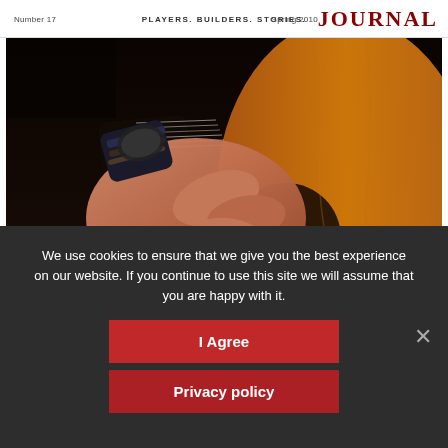Number 17   PLAYERS. BUILDERS. STORIES.   Spring 2010   JOURNAL
[Figure (photo): Close-up photo of a hand strumming an acoustic guitar, showing strings, bridge, and warm wood tones of the guitar body.]
We use cookies to ensure that we give you the best experience on our website. If you continue to use this site we will assume that you are happy with it.
I Agree
Privacy policy